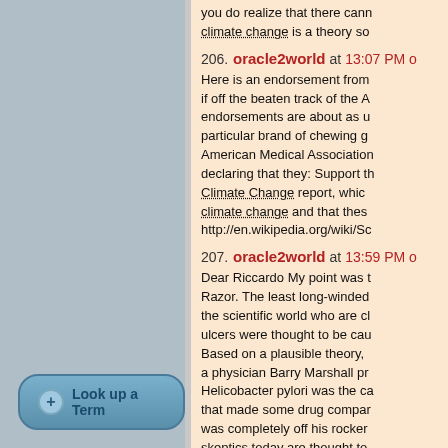you do realize that there cann climate change is a theory so
206. oracle2world at 13:07 PM
Here is an endorsement from if off the beaten track of the A endorsements are about as u particular brand of chewing g American Medical Association declaring that they: Support th Climate Change report, which climate change and that thes http://en.wikipedia.org/wiki/Sc
207. oracle2world at 13:59 PM
Dear Riccardo My point was t Razor. The least long-winded the scientific world who are cl ulcers were thought to be cau Based on a plausible theory, a physician Barry Marshall pr Helicobacter pylori was the ca that made some drug compar was completely off his rocker skeptics today are thought to of AGW, is whether anthropo better than the random varian